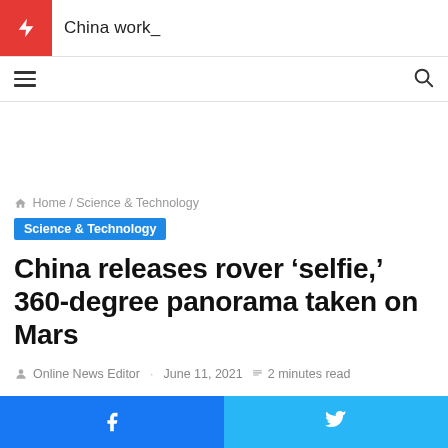China work_
Home / Science & Technology
Science & Technology
China releases rover ‘selfie,’ 360-degree panorama taken on Mars
Online News Editor · June 11, 2021 📰 2 minutes read